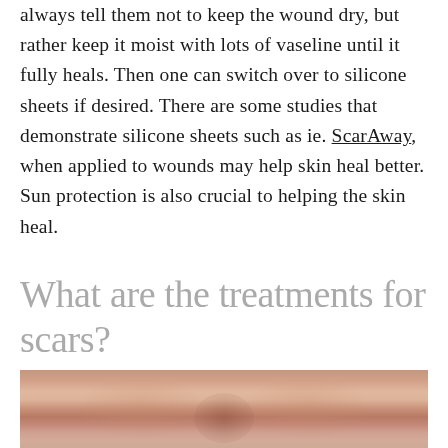always tell them not to keep the wound dry, but rather keep it moist with lots of vaseline until it fully heals. Then one can switch over to silicone sheets if desired. There are some studies that demonstrate silicone sheets such as ie. ScarAway, when applied to wounds may help skin heal better. Sun protection is also crucial to helping the skin heal.
What are the treatments for scars?
[Figure (photo): Close-up photograph of a person's face showing the nose and cheek area with skin texture visible, related to scar treatment discussion]